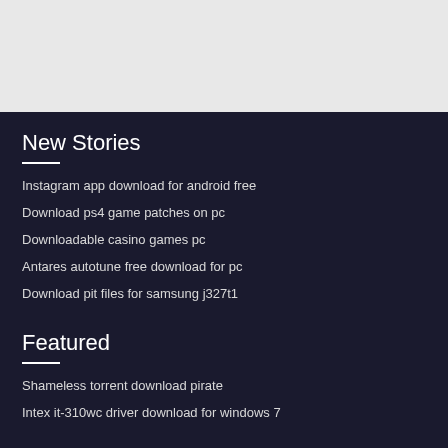[Figure (other): Light gray banner/header area at the top of the page]
New Stories
Instagram app download for android free
Download ps4 game patches on pc
Downloadable casino games pc
Antares autotune free download for pc
Download pit files for samsung j327t1
Featured
Shameless torrent download pirate
Intex it-310wc driver download for windows 7